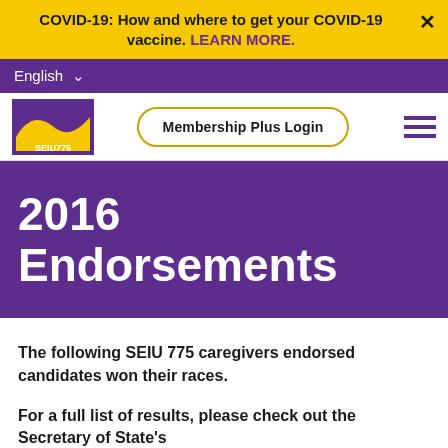COVID-19: How and where to get your COVID-19 vaccine. LEARN MORE.
English
[Figure (logo): SEIU 775 union logo with gold wave on purple background]
Membership Plus Login
2016 Endorsements
The following SEIU 775 caregivers endorsed candidates won their races.
For a full list of results, please check out the Secretary of State's